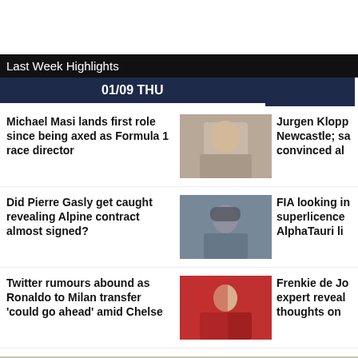Last Week Highlights
01/09 THU
Michael Masi lands first role since being axed as Formula 1 race director
Jurgen Klopp Newcastle; sa convinced al
Did Pierre Gasly get caught revealing Alpine contract almost signed?
FIA looking in superlicence AlphaTauri li
Twitter rumours abound as Ronaldo to Milan transfer 'could go ahead' amid Chelse
Frenkie de Jo expert reveal thoughts on
[Figure (photo): Bottom strip photo showing a person near a vehicle outdoors]